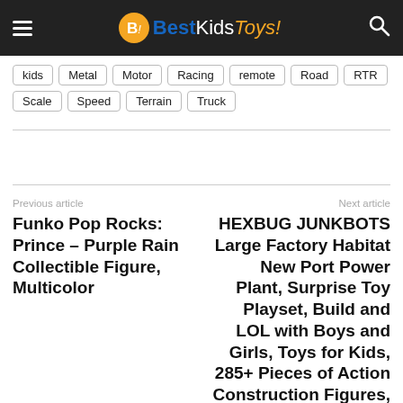BestKidsToys!
kids
Metal
Motor
Racing
remote
Road
RTR
Scale
Speed
Terrain
Truck
Previous article
Funko Pop Rocks: Prince – Purple Rain Collectible Figure, Multicolor
Next article
HEXBUG JUNKBOTS Large Factory Habitat New Port Power Plant, Surprise Toy Playset, Build and LOL with Boys and Girls, Toys for Kids, 285+ Pieces of Action Construction Figures, for Ages 5 and Up